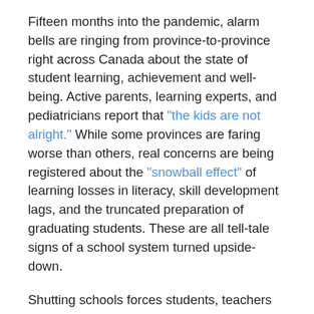Fifteen months into the pandemic, alarm bells are ringing from province-to-province right across Canada about the state of student learning, achievement and well-being. Active parents, learning experts, and pediatricians report that "the kids are not alright." While some provinces are faring worse than others, real concerns are being registered about the "snowball effect" of learning losses in literacy, skill development lags, and the truncated preparation of graduating students. These are all tell-tale signs of a school system turned upside-down.
Shutting schools forces students, teachers and parents to make abrupt ‘pivots’ to hastily imposed online learning or various mutations of hybrid learning, combining some in-person teaching with e-learning activities. What’s most peculiar about ‘Home Learning 2.0’ is that schooling is now in a strange kind of limbo without much in the way of